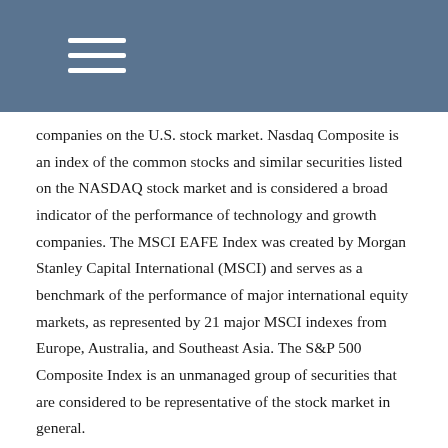companies on the U.S. stock market. Nasdaq Composite is an index of the common stocks and similar securities listed on the NASDAQ stock market and is considered a broad indicator of the performance of technology and growth companies. The MSCI EAFE Index was created by Morgan Stanley Capital International (MSCI) and serves as a benchmark of the performance of major international equity markets, as represented by 21 major MSCI indexes from Europe, Australia, and Southeast Asia. The S&P 500 Composite Index is an unmanaged group of securities that are considered to be representative of the stock market in general.
U.S. Treasury Notes are guaranteed by the federal government as to the timely payment of principal and interest. However, if you sell a Treasury Note prior to maturity, it may be worth more or less